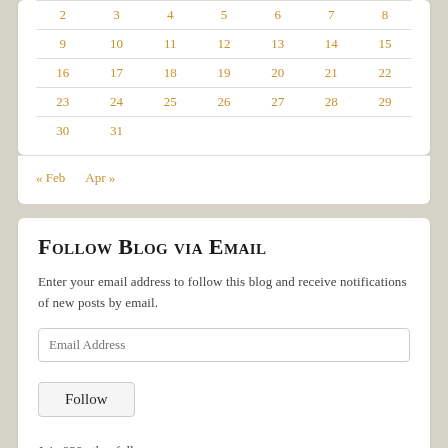| 2 | 3 | 4 | 5 | 6 | 7 | 8 |
| 9 | 10 | 11 | 12 | 13 | 14 | 15 |
| 16 | 17 | 18 | 19 | 20 | 21 | 22 |
| 23 | 24 | 25 | 26 | 27 | 28 | 29 |
| 30 | 31 |  |  |  |  |  |
« Feb   Apr »
Follow Blog via Email
Enter your email address to follow this blog and receive notifications of new posts by email.
Email Address
Follow
Join 329 other followers